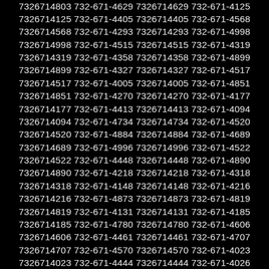7326714815 732-671-4172 7326714172 732-671-4223 7326714223 732-671-4817 7326714817 732-671-4803 7326714803 732-671-4629 7326714629 732-671-4125 7326714125 732-671-4405 7326714405 732-671-4568 7326714568 732-671-4293 7326714293 732-671-4998 7326714998 732-671-4515 7326714515 732-671-4319 7326714319 732-671-4358 7326714358 732-671-4899 7326714899 732-671-4327 7326714327 732-671-4517 7326714517 732-671-4005 7326714005 732-671-4851 7326714851 732-671-4270 7326714270 732-671-4177 7326714177 732-671-4413 7326714413 732-671-4094 7326714094 732-671-4734 7326714734 732-671-4520 7326714520 732-671-4884 7326714884 732-671-4689 7326714689 732-671-4996 7326714996 732-671-4522 7326714522 732-671-4448 7326714448 732-671-4890 7326714890 732-671-4218 7326714218 732-671-4318 7326714318 732-671-4148 7326714148 732-671-4216 7326714216 732-671-4873 7326714873 732-671-4819 7326714819 732-671-4131 7326714131 732-671-4185 7326714185 732-671-4780 7326714780 732-671-4606 7326714606 732-671-4461 7326714461 732-671-4707 7326714707 732-671-4570 7326714570 732-671-4023 7326714023 732-671-4444 7326714444 732-671-4026 7326714026 732-671-4506 7326714506 732-671-4347 7326714347 732-671-4914 7326714914 732-671-4432